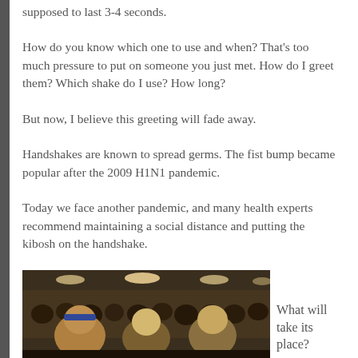supposed to last 3-4 seconds.
How do you know which one to use and when? That’s too much pressure to put on someone you just met. How do I greet them? Which shake do I use? How long?
But now, I believe this greeting will fade away.
Handshakes are known to spread germs. The fist bump became popular after the 2009 H1N1 pandemic.
Today we face another pandemic, and many health experts recommend maintaining a social distance and putting the kibosh on the handshake.
[Figure (photo): Photo of three people (two men and a woman) in a crowd at what appears to be a large indoor event or convention.]
What will take its place?